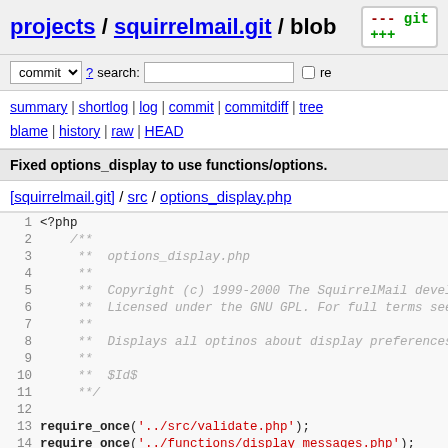projects / squirrelmail.git / blob
commit ? search: re
summary | shortlog | log | commit | commitdiff | tree blame | history | raw | HEAD
Fixed options_display to use functions/options.
[squirrelmail.git] / src / options_display.php
1 <?php
2   /**
3   **  options_display.php
4   **
5   **  Copyright (c) 1999-2000 The SquirrelMail develo
6   **  Licensed under the GNU GPL. For full terms see
7   **
8   **  Displays all optinos about display preferences
9   **
10  **  $Id$
11  **/
12
13  require_once('../src/validate.php');
14  require_once('../functions/display_messages.php');
15  require_once('../functions/imap.php');
16  require_once('../functions/array.php');
17  require_once('../functions/plugin.php');
18  require_once('../functions/options.php');
19